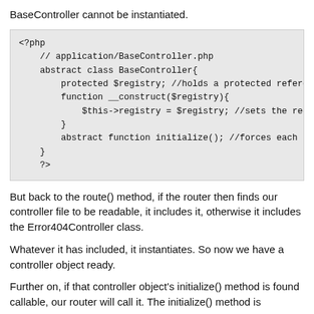BaseController cannot be instantiated.
[Figure (screenshot): PHP code block showing abstract class BaseController with protected $registry, __construct($registry), and abstract function initialize()]
But back to the route() method, if the router then finds our controller file to be readable, it includes it, otherwise it includes the Error404Controller class.
Whatever it has included, it instantiates. So now we have a controller object ready.
Further on, if that controller object's initialize() method is found callable, our router will call it. The initialize() method is where we will define the actions we want each controller to...